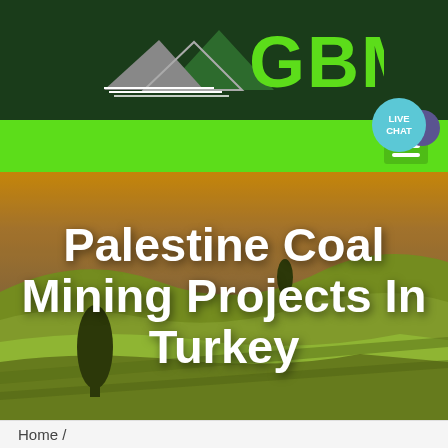[Figure (logo): GBM company logo with mountain/peak icon in white and grey on dark green background, with large green GBM text]
[Figure (screenshot): Green navigation bar with hamburger menu icon on right, and a live chat badge (teal circle) with purple speech bubble icon at top right]
[Figure (photo): Aerial landscape photo showing rolling green fields with warm orange/golden tones, with dark silhouetted trees. Used as hero background image.]
Palestine Coal Mining Projects In Turkey
Home /